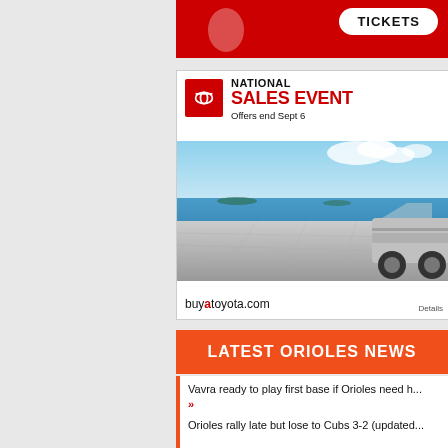[Figure (photo): Top red advertisement banner with TICKETS button in white rounded rectangle]
[Figure (photo): Toyota National Sales Event advertisement. Shows Toyota logo in red box, 'NATIONAL SALES EVENT' text in red, 'Offers end Sept 6', scene of car on coastal platform, 'buyatoyota.com' and 'Details' text at bottom.]
LATEST ORIOLES NEWS
Vavra ready to play first base if Orioles need h... »
Orioles rally late but lose to Cubs 3-2 (updated...